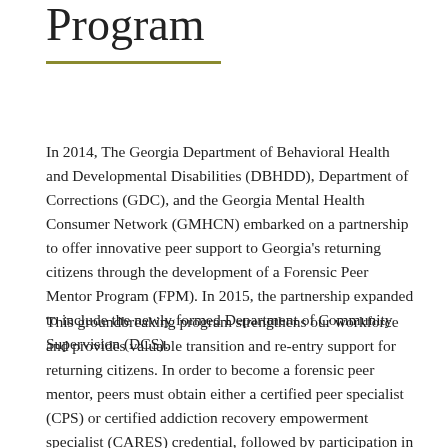Program
In 2014, The Georgia Department of Behavioral Health and Developmental Disabilities (DBHDD), Department of Corrections (GDC), and the Georgia Mental Health Consumer Network (GMHCN) embarked on a partnership to offer innovative peer support to Georgia's returning citizens through the development of a Forensic Peer Mentor Program (FPM). In 2015, the partnership expanded to include the newly formed Department of Community Supervision (DCS).
This groundbreaking program strengthens our workforce and provides valuable transition and re-entry support for returning citizens. In order to become a forensic peer mentor, peers must obtain either a certified peer specialist (CPS) or certified addiction recovery empowerment specialist (CARES) credential, followed by participation in a week-long intensive, didactic and experiential